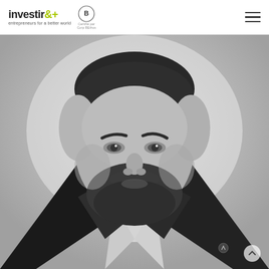investir&+ entrepreneurs for a better world [B Corp certified logo]
[Figure (photo): Black and white professional headshot portrait of a man with a beard wearing a dark suit jacket and white dress shirt, photographed against a light grey background.]